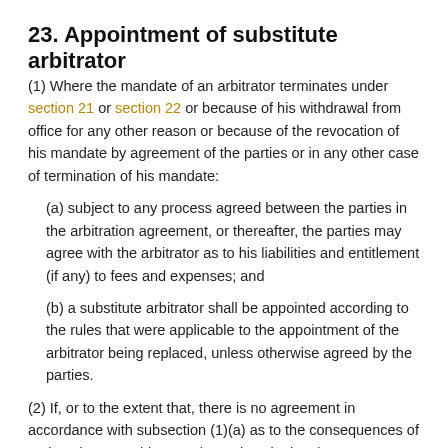23. Appointment of substitute arbitrator
(1) Where the mandate of an arbitrator terminates under section 21 or section 22 or because of his withdrawal from office for any other reason or because of the revocation of his mandate by agreement of the parties or in any other case of termination of his mandate:
(a) subject to any process agreed between the parties in the arbitration agreement, or thereafter, the parties may agree with the arbitrator as to his liabilities and entitlement (if any) to fees and expenses; and
(b) a substitute arbitrator shall be appointed according to the rules that were applicable to the appointment of the arbitrator being replaced, unless otherwise agreed by the parties.
(2) If, or to the extent that, there is no agreement in accordance with subsection (1)(a) as to the consequences of resignation, an arbitrator who resigns in the circumstances set out in subsection (1) may, upon written notice to the parties, request the arbitral